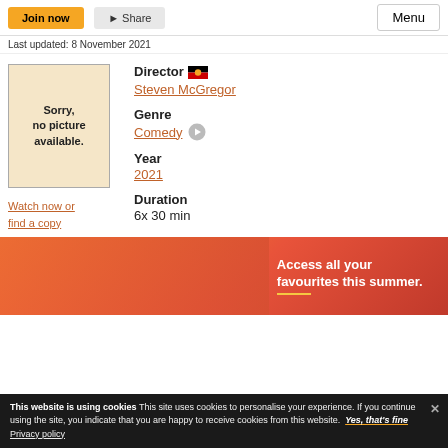Last updated: 8 November 2021  Menu
[Figure (other): No picture available placeholder box with beige background and border]
Watch now or find a copy
Director  Steven McGregor
Genre  Comedy
Year  2021
Duration  6x 30 min
[Figure (photo): Access all your favourites this summer. Advertisement banner with orange-red gradient and people in background.]
This website is using cookies This site uses cookies to personalise your experience. If you continue using the site, you indicate that you are happy to receive cookies from this website. Yes, that's fine  Privacy policy